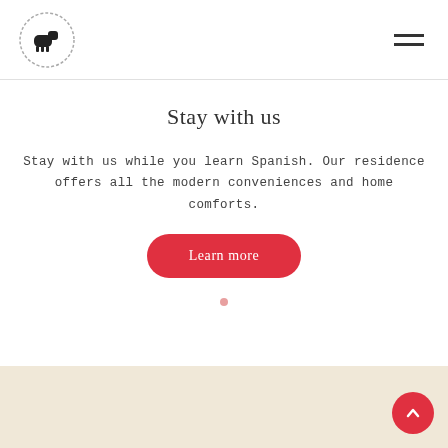[Figure (logo): Circular logo with a black sheep/llama silhouette inside a dotted circle border]
[Figure (illustration): Hamburger menu icon with two horizontal lines in top-right corner]
Stay with us
Stay with us while you learn Spanish. Our residence offers all the modern conveniences and home comforts.
[Figure (other): Red rounded rectangular button labeled 'Learn more']
[Figure (other): Red circular back-to-top button with upward chevron arrow]